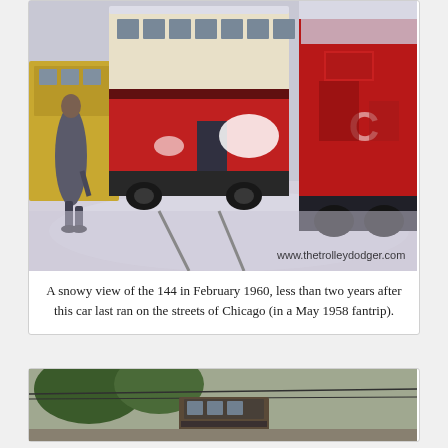[Figure (photo): A snowy street scene showing Chicago streetcar #144 in February 1960. A person in a long coat walks alongside red and cream colored streetcars on a snow-covered street. Another red streetcar is visible to the right. Watermark: www.thetrolleydodger.com]
A snowy view of the 144 in February 1960, less than two years after this car last ran on the streets of Chicago (in a May 1958 fantrip).
[Figure (photo): Partial view of a streetcar on a tree-lined street, bottom portion of the image visible.]